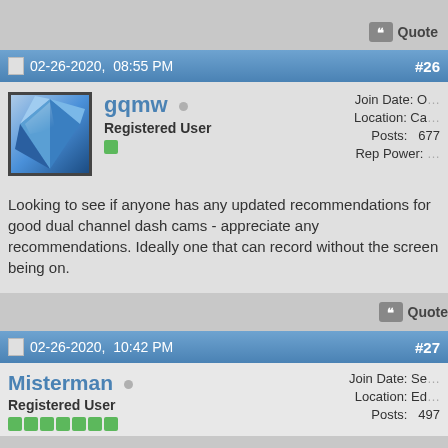Quote
02-26-2020, 08:55 PM  #26
gqmw  Registered User
Join Date: O  Location: Ca  Posts: 677  Rep Power: :
Looking to see if anyone has any updated recommendations for good dual channel dash cams - appreciate any recommendations. Ideally one that can record without the screen being on.
Quote
02-26-2020, 10:42 PM  #27
Misterman  Registered User
Join Date: Se  Location: Ed  Posts: 497